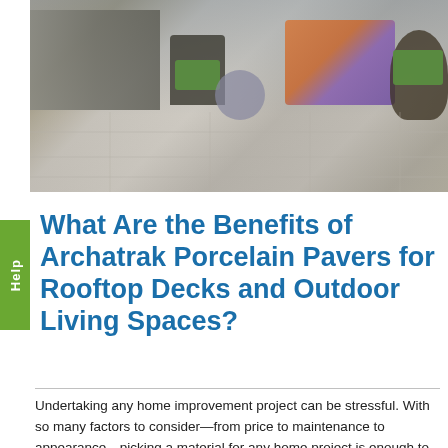[Figure (photo): Outdoor rooftop deck with large porcelain pavers in a gray wood-look finish. Features modern outdoor kitchen with stainless steel appliances on the left, a round wire-frame side table with a modern lounge chair with green cushion in the center, a seating group with orange/blue cushioned furniture in the back right, and a black metal chair with green cushion on the far right. Plants are visible along the edges.]
What Are the Benefits of Archatrak Porcelain Pavers for Rooftop Decks and Outdoor Living Spaces?
Undertaking any home improvement project can be stressful. With so many factors to consider—from price to maintenance to appearance—picking a material for any home project is enough to make your head spin! If you're